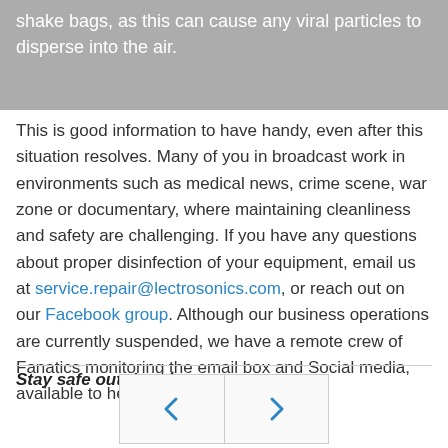shake bags, as this can cause any viral particles to disperse into the air.
This is good information to have handy, even after this situation resolves. Many of you in broadcast work in environments such as medical news, crime scene, war zone or documentary, where maintaining cleanliness and safety are challenging. If you have any questions about proper disinfection of your equipment, email us at service.repair@lectrosonics.com, or reach out on our Facebook group. Although our business operations are currently suspended, we have a remote crew of Fanatics monitoring the email box and Social media, available to help you in a timely manner.
Stay safe out there!